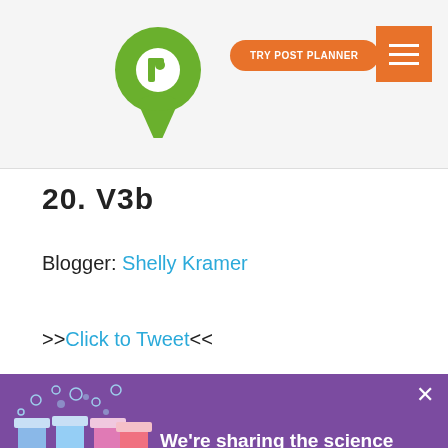TRY POST PLANNER
20. V3b
Blogger: Shelly Kramer
>>Click to Tweet<<
[Figure (infographic): Purple banner with test tube social media illustration. Text reads: We're sharing the science of social media.]
We use cookies to give you the best experience possible. By continuing, we'll assume you're cool with our cookie policy.
Accept